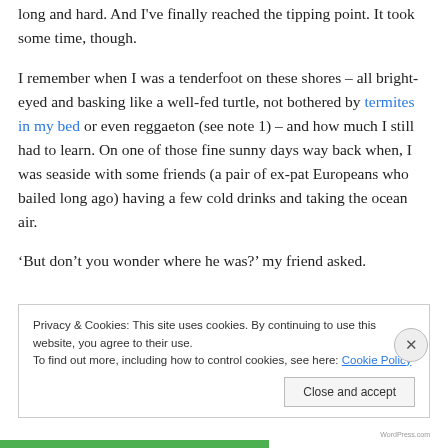long and hard. And I've finally reached the tipping point. It took some time, though.
I remember when I was a tenderfoot on these shores – all bright-eyed and basking like a well-fed turtle, not bothered by termites in my bed or even reggaeton (see note 1) – and how much I still had to learn. On one of those fine sunny days way back when, I was seaside with some friends (a pair of ex-pat Europeans who bailed long ago) having a few cold drinks and taking the ocean air.
‘But don’t you wonder where he was?’ my friend asked.
Privacy & Cookies: This site uses cookies. By continuing to use this website, you agree to their use.
To find out more, including how to control cookies, see here: Cookie Policy